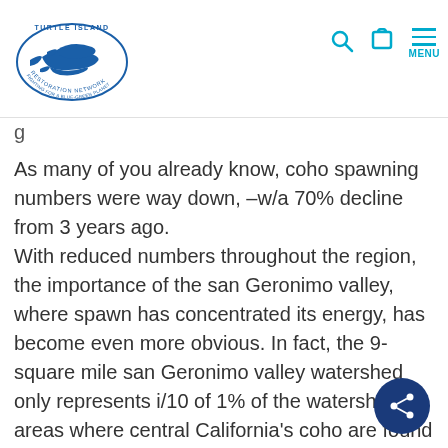Turtle Island Restoration Network — navigation header with logo, search, cart, and menu icons
As many of you already know, coho spawning numbers were way down, –w/a 70% decline from 3 years ago.
With reduced numbers throughout the region, the importance of the san Geronimo valley, where spawn has concentrated its energy, has become even more obvious. In fact, the 9-square mile san Geronimo valley watershed only represents i/10 of 1% of the watershed areas where central California's coho are found — yet 30% of all the wild coho that spawned this